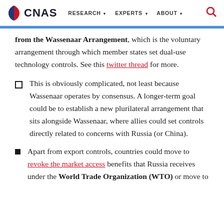CNAS | RESEARCH | EXPERTS | ABOUT
from the Wassenaar Arrangement, which is the voluntary arrangement through which member states set dual-use technology controls. See this twitter thread for more.
This is obviously complicated, not least because Wassenaar operates by consensus. A longer-term goal could be to establish a new plurilateral arrangement that sits alongside Wassenaar, where allies could set controls directly related to concerns with Russia (or China).
Apart from export controls, countries could move to revoke the market access benefits that Russia receives under the World Trade Organization (WTO) or move to